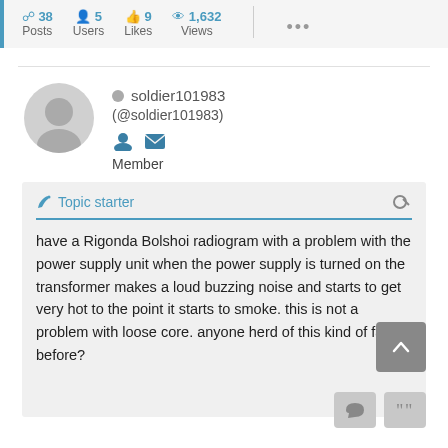Posts · Users · Likes · Views · ...
soldier101983 (@soldier101983) Member
Topic starter
have a Rigonda Bolshoi radiogram with a problem with the power supply unit when the power supply is turned on the transformer makes a loud buzzing noise and starts to get very hot to the point it starts to smoke. this is not a problem with loose core. anyone herd of this kind of fault before?